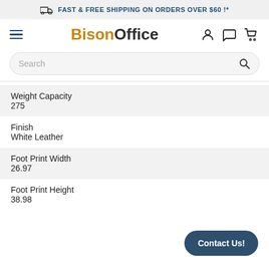FAST & FREE SHIPPING ON ORDERS OVER $60 !*
BisonOffice
| Attribute | Value |
| --- | --- |
| Weight Capacity | 275 |
| Finish | White Leather |
| Foot Print Width | 26.97 |
| Foot Print Height | 38.98 |